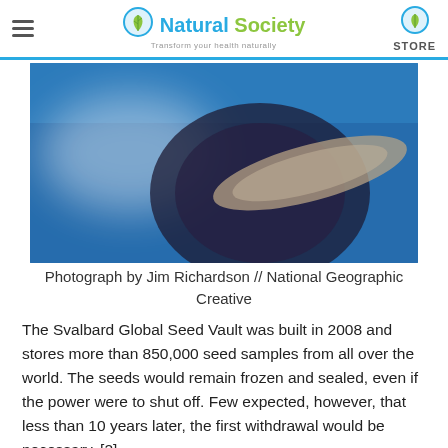Natural Society — Transform your health naturally | STORE
[Figure (photo): Blurred close-up photograph of seeds or a seed-related object against a blue background, credited to Jim Richardson // National Geographic Creative]
Photograph by Jim Richardson // National Geographic Creative
The Svalbard Global Seed Vault was built in 2008 and stores more than 850,000 seed samples from all over the world. The seeds would remain frozen and sealed, even if the power were to shut off. Few expected, however, that less than 10 years later, the first withdrawal would be necessary. [2]